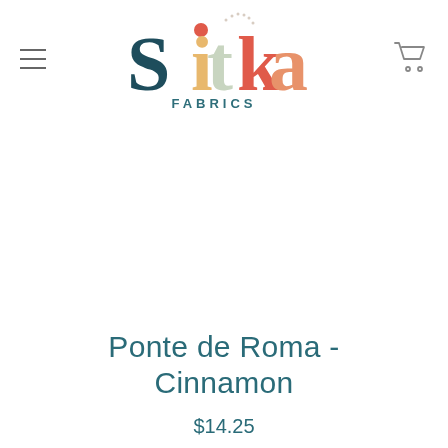[Figure (logo): Sitka Fabrics logo — colorful stylized letters S, i, t, k, a with fabric/spool motifs, subtitle FABRICS in teal]
Ponte de Roma - Cinnamon
$14.25